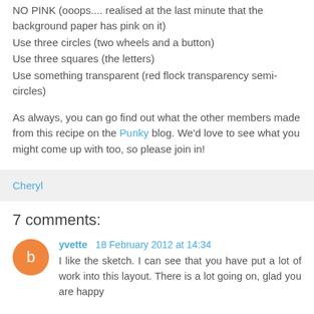NO PINK (ooops.... realised at the last minute that the background paper has pink on it)
Use three circles (two wheels and a button)
Use three squares (the letters)
Use something transparent (red flock transparency semi-circles)
As always, you can go find out what the other members made from this recipe on the Punky blog. We'd love to see what you might come up with too, so please join in!
Cheryl
7 comments:
yvette  18 February 2012 at 14:34
I like the sketch. I can see that you have put a lot of work into this layout. There is a lot going on, glad you are happy